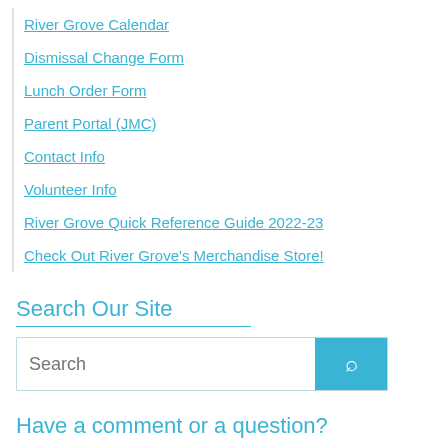River Grove Calendar
Dismissal Change Form
Lunch Order Form
Parent Portal (JMC)
Contact Info
Volunteer Info
River Grove Quick Reference Guide 2022-23
Check Out River Grove's Merchandise Store!
Search Our Site
Have a comment or a question?